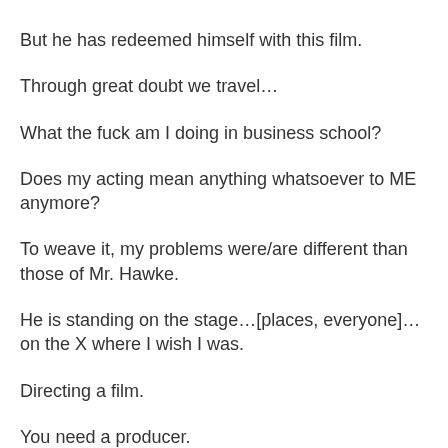But he has redeemed himself with this film.
Through great doubt we travel…
What the fuck am I doing in business school?
Does my acting mean anything whatsoever to ME anymore?
To weave it, my problems were/are different than those of Mr. Hawke.
He is standing on the stage…[places, everyone]…on the X where I wish I was.
Directing a film.
You need a producer.